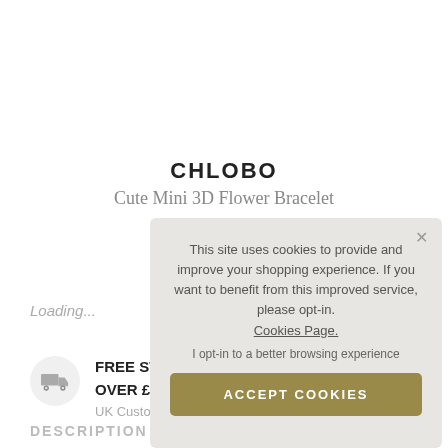CHLOBO
Cute Mini 3D Flower Bracelet
SKU: SBCM128
Loading...
FREE ST... OVER £... UK Custo...
DESCRIPTION
This site uses cookies to provide and improve your shopping experience. If you want to benefit from this improved service, please opt-in. Cookies Page.
I opt-in to a better browsing experience
ACCEPT COOKIES